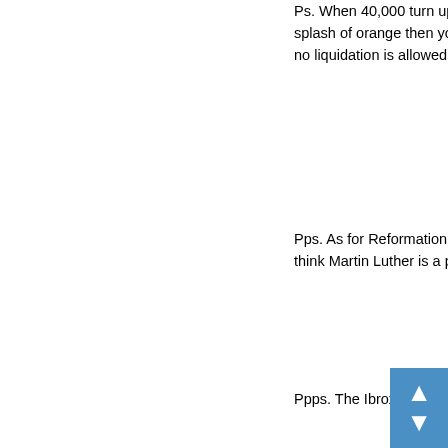Ps. When 40,000 turn up after the liquidation of RFC at a Division match every week dressed in red, white and blue with a splash of orange then you know that it's for more than a football game – it's a practice for the Twelfth of July in Belfast, and no liquidation is allowed to stand in the way of that.
Pps. As for Reformation Day – time for a dose of reality. Scottish protestantism is about 1690 for the majority, most of whom think Martin Luther is a possible new signing from the English leagues.
Ppps. The Ibrox club is in close proximity to another insolvency event. That's self-awareness.
1 November, 2017 at 3:41 pm
boris says:
Is the complainant to be charged with wasting police time
https://caltonjock.com/2017/11/01/northern-sea-route-dev fast-but-what-happened-to-the-transshipment-container-b capacity-in-orkney-fingers-out-or-scotland-misses-out-yet
1 November, 2017 at 3:44 pm